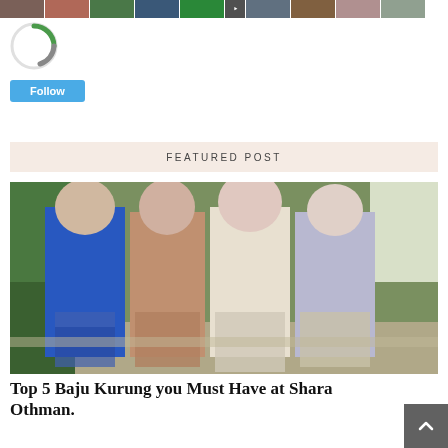[Figure (photo): Strip of small thumbnail photos of people at the top of the page]
[Figure (logo): Circular green and grey loading-spinner style logo]
[Figure (other): Blue 'Follow' button]
FEATURED POST
[Figure (photo): Group photo of four women wearing Baju Kurung traditional attire in blue, rose gold, cream/white, and light purple, standing outdoors in a garden setting]
Top 5 Baju Kurung you Must Have at Shara Othman.